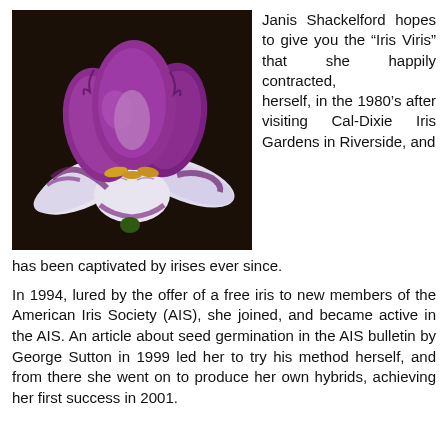[Figure (photo): A close-up photograph of a purple and white bearded iris flower against a dark background.]
Janis Shackelford hopes to give you the “Iris Viris” that she happily contracted, herself, in the 1980’s after visiting Cal-Dixie Iris Gardens in Riverside, and has been captivated by irises ever since.
In 1994, lured by the offer of a free iris to new members of the American Iris Society (AIS), she joined, and became active in the AIS. An article about seed germination in the AIS bulletin by George Sutton in 1999 led her to try his method herself, and from there she went on to produce her own hybrids, achieving her first success in 2001.